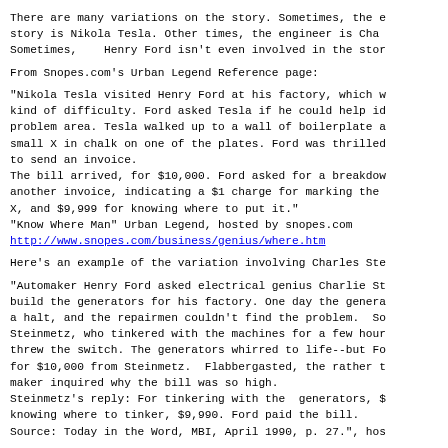There are many variations on the story. Sometimes, the e story is Nikola Tesla. Other times, the engineer is Cha Sometimes,    Henry Ford isn't even involved in the stor
From Snopes.com's Urban Legend Reference page:
"Nikola Tesla visited Henry Ford at his factory, which w kind of difficulty. Ford asked Tesla if he could help id problem area. Tesla walked up to a wall of boilerplate a small X in chalk on one of the plates. Ford was thrilled to send an invoice.
The bill arrived, for $10,000. Ford asked for a breakdow another invoice, indicating a $1 charge for marking the X, and $9,999 for knowing where to put it."
"Know Where Man" Urban Legend, hosted by snopes.com
http://www.snopes.com/business/genius/where.htm
Here's an example of the variation involving Charles Ste
"Automaker Henry Ford asked electrical genius Charlie St build the generators for his factory. One day the genera a halt, and the repairmen couldn't find the problem.  So Steinmetz, who tinkered with the machines for a few hour threw the switch. The generators whirred to life--but Fo for $10,000 from Steinmetz.  Flabbergasted, the rather t maker inquired why the bill was so high.
Steinmetz's reply: For tinkering with the  generators, $ knowing where to tinker, $9,990. Ford paid the bill.
Source: Today in the Word, MBI, April 1990, p. 27.", hos